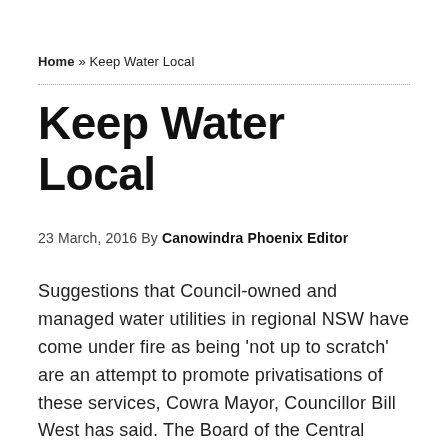Home » Keep Water Local
Keep Water Local
23 March, 2016 By Canowindra Phoenix Editor
Suggestions that Council-owned and managed water utilities in regional NSW have come under fire as being 'not up to scratch' are an attempt to promote privatisations of these services, Cowra Mayor, Councillor Bill West has said. The Board of the Central West Councils (Centroc) have responded angrily to claims in the recently released infrastructure Australia 15 Year